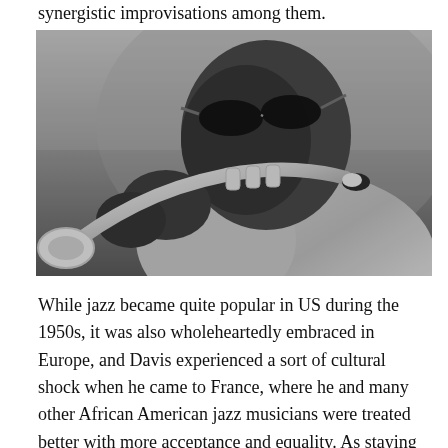synergistic improvisations among them.
[Figure (photo): Black and white photograph of a man wearing dark sunglasses playing a trumpet, close-up shot, the musician is dressed in a light-colored shirt.]
While jazz became quite popular in US during the 1950s, it was also wholeheartedly embraced in Europe, and Davis experienced a sort of cultural shock when he came to France, where he and many other African American jazz musicians were treated better with more acceptance and equality. As staying in France, he happened to be hired for